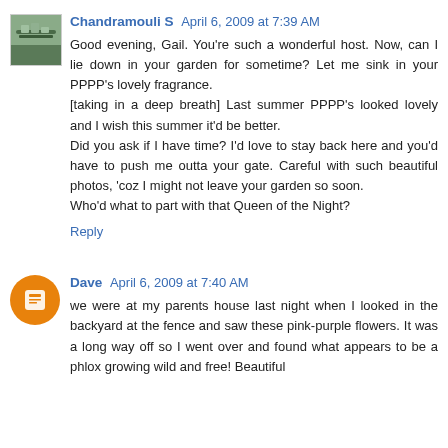Chandramouli S April 6, 2009 at 7:39 AM
Good evening, Gail. You're such a wonderful host. Now, can I lie down in your garden for sometime? Let me sink in your PPPP's lovely fragrance.
[taking in a deep breath] Last summer PPPP's looked lovely and I wish this summer it'd be better.
Did you ask if I have time? I'd love to stay back here and you'd have to push me outta your gate. Careful with such beautiful photos, 'coz I might not leave your garden so soon.
Who'd what to part with that Queen of the Night?
Reply
Dave April 6, 2009 at 7:40 AM
we were at my parents house last night when I looked in the backyard at the fence and saw these pink-purple flowers. It was a long way off so I went over and found what appears to be a phlox growing wild and free! Beautiful